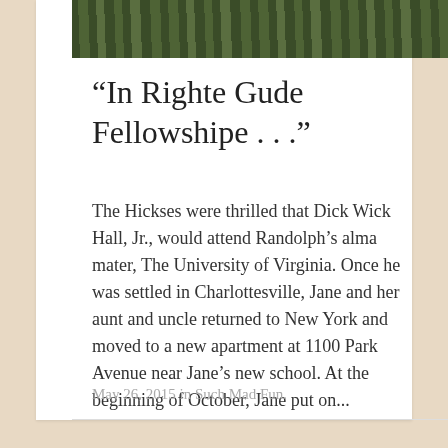[Figure (photo): Partial view of trees/forest, cropped at the top of the card]
“In Righte Gude Fellowshipe . . .”
The Hickses were thrilled that Dick Wick Hall, Jr., would attend Randolph’s alma mater, The University of Virginia. Once he was settled in Charlottesville, Jane and her aunt and uncle returned to New York and moved to a new apartment at 1100 Park Avenue near Jane’s new school. At the beginning of October, Jane put on...
May 26, 2015 in Such Mad Fun.